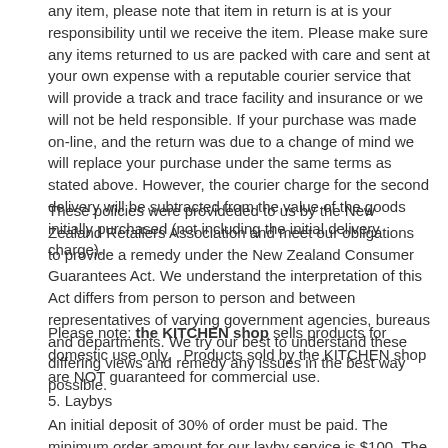any item, please note that item in return is at is your responsibility until we receive the item. Please make sure any items returned to us are packed with care and sent at your own expense with a reputable courier service that will provide a track and trace facility and insurance or we will not be held responsible.  If your purchase was made on-line, and the return was due to a change of mind we will replace your purchase under the same terms as stated above.  However, the courier charge for the second delivery will be subtracted from the value of the goods initially purchased (not including the initial delivery charge).
These policies were provideded to us by the New Zealand Retailers Association and meet our obligations to provide a remedy under the New Zealand Consumer Guarantees Act. We understand the interpretation of this Act differs from person to person and between representatives of varying government agencies, bureaus and departments. We try our best to understand these differing views and remedy any issues in the best way possible.
Please note: the KITCHEN shop sells products for domestic use only.   Products sold by the KITCHEN shop are NOT guaranteed for commercial use.
5. Laybys
An initial deposit of 30% of order must be paid.  The minimum order amount for our layby service is $100.  The layby period